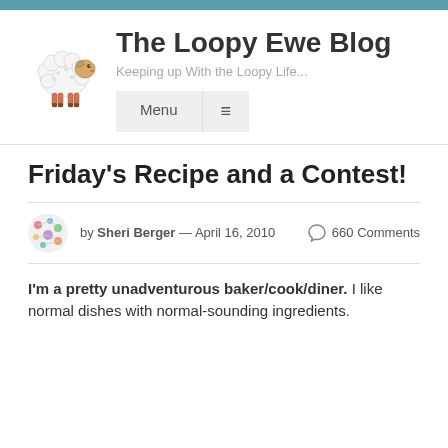The Loopy Ewe Blog — Keeping up With the Loopy Life...
Friday's Recipe and a Contest!
by Sheri Berger — April 16, 2010   660 Comments
I'm a pretty unadventurous baker/cook/diner. I like normal dishes with normal-sounding ingredients.